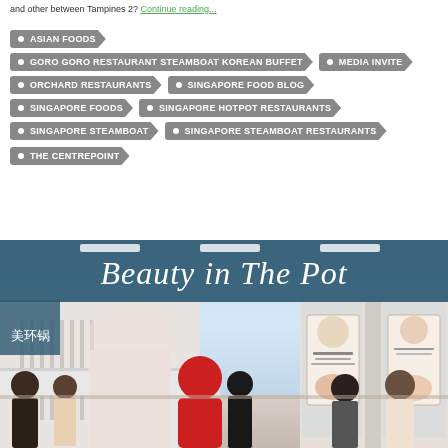and other between Tampines 2? Continue reading...
ASIAN FOODS
GORO GORO RESTAURANT STEAMBOAT KOREAN BUFFET
MEDIA INVITE
ORCHARD RESTAURANTS
SINGAPORE FOOD BLOG
SINGAPORE FOODS
SINGAPORE HOTPOT RESTAURANTS
SINGAPORE STEAMBOAT
SINGAPORE STEAMBOAT RESTAURANTS
THE CENTREPOINT
[Figure (photo): Interior photo of Beauty in The Pot restaurant showing the storefront signage with cursive text 'Beauty in The Pot', customers and staff inside, and promotional displays.]